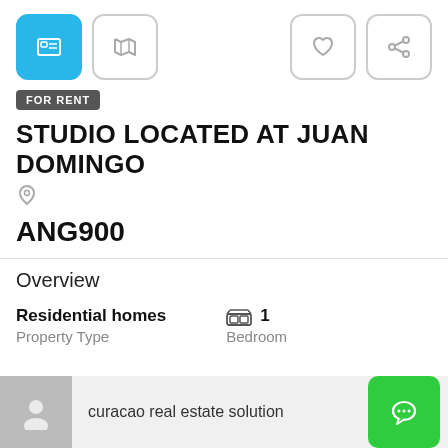[Figure (screenshot): Top navigation bar with icon buttons: active gallery button (blue), map button, heart/favorite button, and share button]
FOR RENT
STUDIO LOCATED AT JUAN DOMINGO
ANG900
Overview
Residential homes
Property Type
1
Bedroom
curacao real estate solution